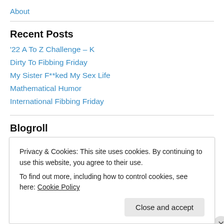About
Recent Posts
'22 A To Z Challenge – K
Dirty To Fibbing Friday
My Sister F**ked My Sex Life
Mathematical Humor
International Fibbing Friday
Blogroll
Privacy & Cookies: This site uses cookies. By continuing to use this website, you agree to their use. To find out more, including how to control cookies, see here: Cookie Policy
Close and accept